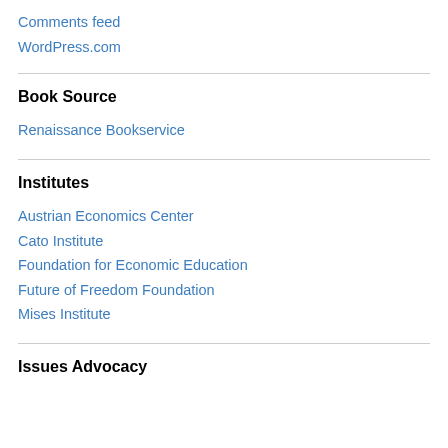Comments feed
WordPress.com
Book Source
Renaissance Bookservice
Institutes
Austrian Economics Center
Cato Institute
Foundation for Economic Education
Future of Freedom Foundation
Mises Institute
Issues Advocacy